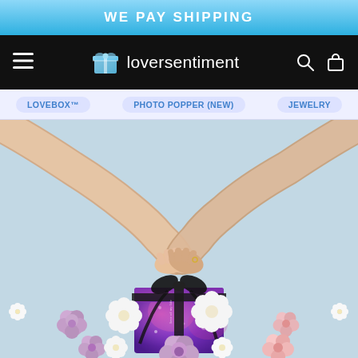WE PAY SHIPPING
[Figure (logo): Loversentiment logo with gift box icon and site name on dark nav bar with hamburger menu, search and cart icons]
LOVEBOX™   PHOTO POPPER (NEW)   JEWELRY
[Figure (photo): Two people reaching toward each other holding hands above a purple/pink galaxy-print gift box with black ribbon, surrounded by pink, lavender and white roses on a light blue background]